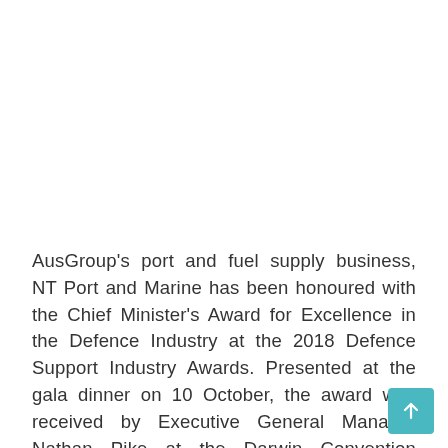AusGroup's port and fuel supply business, NT Port and Marine has been honoured with the Chief Minister's Award for Excellence in the Defence Industry at the 2018 Defence Support Industry Awards. Presented at the gala dinner on 10 October, the award was received by Executive General Manager Nathan Pike at the Darwin Convention Centre and was a huge achievement for business.